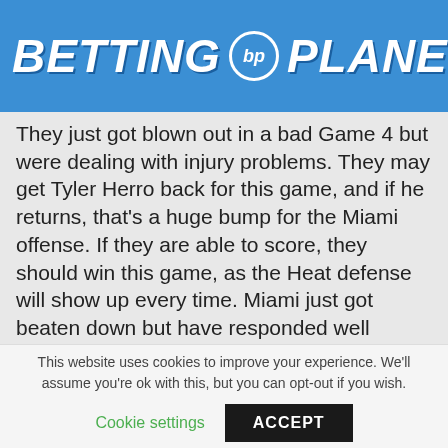[Figure (logo): Betting Planet logo with blue background, white bold italic text 'BETTING' and 'PLANET' with a circular BP emblem in between, and a dark circular menu button on the right]
They just got blown out in a bad Game 4 but were dealing with injury problems. They may get Tyler Herro back for this game, and if he returns, that's a huge bump for the Miami offense. If they are able to score, they should win this game, as the Heat defense will show up every time. Miami just got beaten down but have responded well throughout the playoffs and should come out motivated. Guys like Jimmy Butler and Bam Adebayo thrive on intensity and should both come out strong. It won't be easy, but backing the home underdogs in what's destined to be an electric atmosphere
This website uses cookies to improve your experience. We'll assume you're ok with this, but you can opt-out if you wish.
Cookie settings
ACCEPT